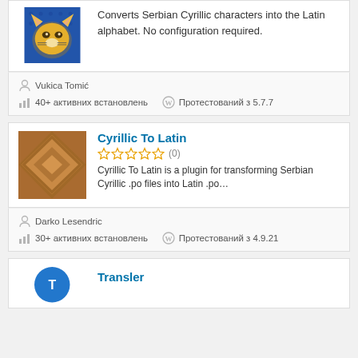[Figure (illustration): Yellow cartoon lion/cat face on blue dotted background - plugin icon (partial, top crop)]
Converts Serbian Cyrillic characters into the Latin alphabet. No configuration required.
Vukica Tomić
40+ активних встановлень
Протестований з 5.7.7
Cyrillic To Latin
[Figure (illustration): Brown geometric diamond/polygon pattern - plugin icon]
Cyrillic To Latin is a plugin for transforming Serbian Cyrillic .po files into Latin .po…
Darko Lesendric
30+ активних встановлень
Протестований з 4.9.21
Transler